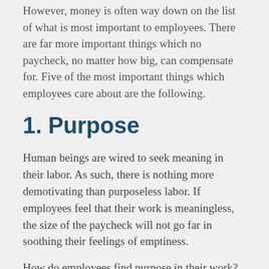However, money is often way down on the list of what is most important to employees. There are far more important things which no paycheck, no matter how big, can compensate for. Five of the most important things which employees care about are the following.
1. Purpose
Human beings are wired to seek meaning in their labor. As such, there is nothing more demotivating than purposeless labor. If employees feel that their work is meaningless, the size of the paycheck will not go far in soothing their feelings of emptiness.
How do employees find purpose in their work? Simple, by feeling that they are contributing towards something worthwhile they realize that they